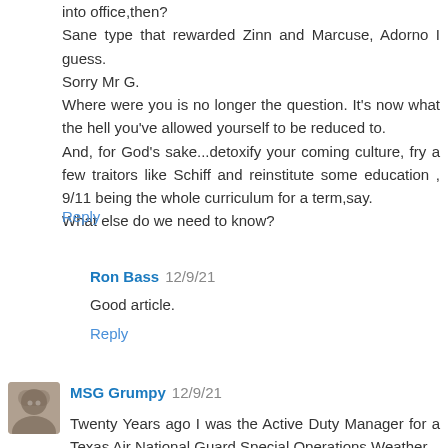into office,then?
Sane type that rewarded Zinn and Marcuse, Adorno I guess.
Sorry Mr G.
Where were you is no longer the question. It's now what the hell you've allowed yourself to be reduced to.
And, for God's sake...detoxify your coming culture, fry a few traitors like Schiff and reinstitute some education , 9/11 being the whole curriculum for a term,say.
What else do we need to know?
Reply
Ron Bass  12/9/21
Good article.
Reply
MSG Grumpy  12/9/21
Twenty Years ago I was the Active Duty Manager for a Texas Air National Guard Special Operations Weather